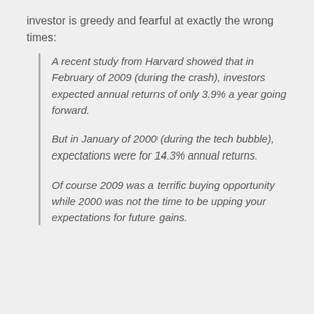investor is greedy and fearful at exactly the wrong times:
A recent study from Harvard showed that in February of 2009 (during the crash), investors expected annual returns of only 3.9% a year going forward.
But in January of 2000 (during the tech bubble), expectations were for 14.3% annual returns.
Of course 2009 was a terrific buying opportunity while 2000 was not the time to be upping your expectations for future gains.